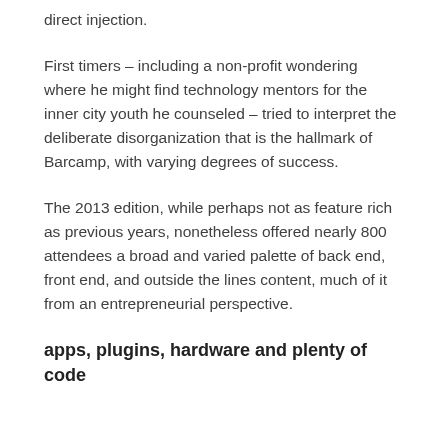direct injection.
First timers – including a non-profit wondering where he might find technology mentors for the inner city youth he counseled – tried to interpret the deliberate disorganization that is the hallmark of Barcamp, with varying degrees of success.
The 2013 edition, while perhaps not as feature rich as previous years, nonetheless offered nearly 800 attendees a broad and varied palette of back end, front end, and outside the lines content, much of it from an entrepreneurial perspective.
apps, plugins, hardware and plenty of code